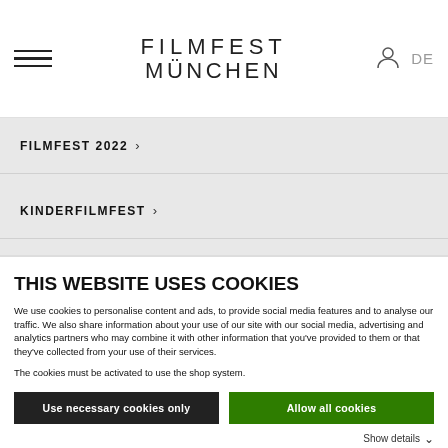[Figure (logo): Filmfest München logo with hamburger menu, user icon and DE language switcher]
FILMFEST 2022 >
KINDERFILMFEST >
FESTIVAL INFOS >
THIS WEBSITE USES COOKIES
We use cookies to personalise content and ads, to provide social media features and to analyse our traffic. We also share information about your use of our site with our social media, advertising and analytics partners who may combine it with other information that you've provided to them or that they've collected from your use of their services.
The cookies must be activated to use the shop system.
Use necessary cookies only
Allow all cookies
Show details